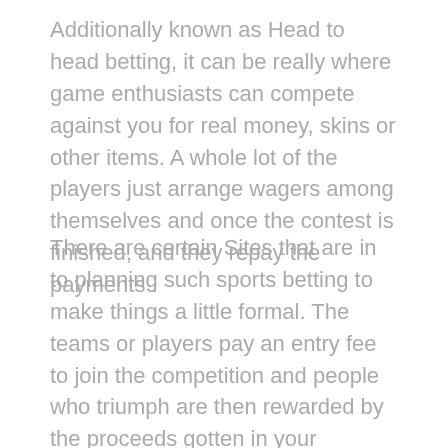Additionally known as Head to head betting, it can be really where game enthusiasts can compete against you for real money, skins or other items. A whole lot of the players just arrange wagers among themselves and once the contest is finished, and they repay the payments .
There are certain Sites that are in to planning such sports betting to make things a little formal. The teams or players pay an entry fee to join the competition and people who triumph are then rewarded by the proceeds gotten in your penalties.